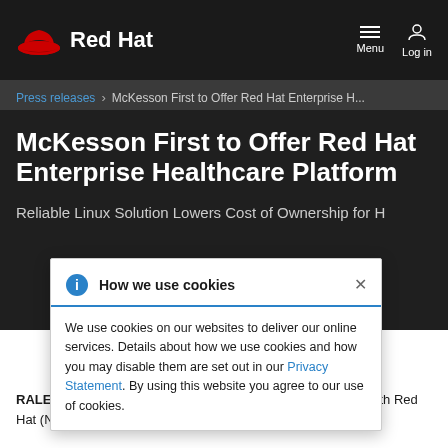Red Hat | Menu | Log in
Press releases > McKesson First to Offer Red Hat Enterprise H...
McKesson First to Offer Red Hat Enterprise Healthcare Platform
Reliable Linux Solution Lowers Cost of Ownership for H...
How we use cookies

We use cookies on our websites to deliver our online services. Details about how we use cookies and how you may disable them are set out in our Privacy Statement. By using this website you agree to our use of cookies.
RALEIGH, N.C - February 26, 2007 – McKesson has joined with Red Hat (NYSE:RHT), the world's leading...